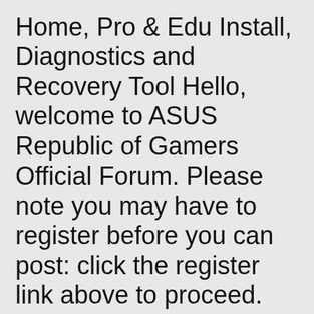Home, Pro & Edu Install, Diagnostics and Recovery Tool Hello, welcome to ASUS Republic of Gamers Official Forum. Please note you may have to register before you can post: click the register link above to proceed.
Windows 10 64 bit / Windows 10 / Windows 8 64 bit / Windows 8 / Windows 7 64 bit / Windows 7 / Windows Vista 64 bit / Windows Vista / Windows XP AI Suite III, free download. An all-in-one interface for managing different ASUS components, tools and utilities - useful for gamers and power users alike. Includes tests and PC download for Windows 32 and 64-bit systems.